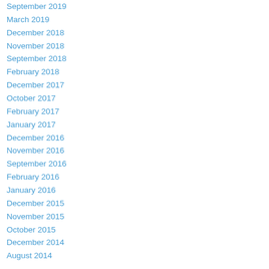September 2019
March 2019
December 2018
November 2018
September 2018
February 2018
December 2017
October 2017
February 2017
January 2017
December 2016
November 2016
September 2016
February 2016
January 2016
December 2015
November 2015
October 2015
December 2014
August 2014